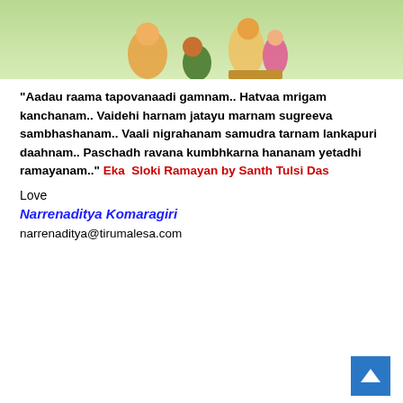[Figure (illustration): Illustration showing Hindu religious scene with Hanuman bowing before Rama on a light green background]
“Aadau raama tapovanaadi gamnam.. Hatvaa mrigam kanchanam.. Vaidehi harnam jatayu marnam sugreeva sambhashanam.. Vaali nigrahanam samudra tarnam lankapuri daahnam.. Paschadh ravana kumbhkarna hananam yetadhi ramayanam..” Eka Sloki Ramayan by Santh Tulsi Das
Love
Narrenaditya Komaragiri
narrenaditya@tirumalesa.com